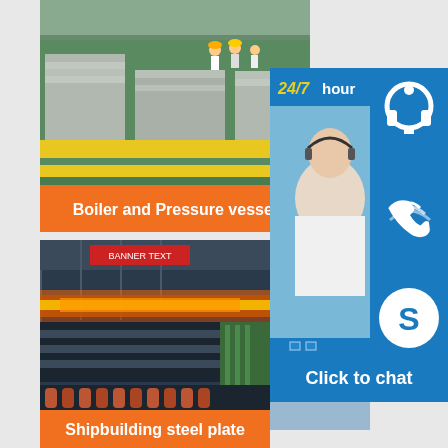[Figure (photo): Industrial warehouse/facility with stacked steel plates on green floor with yellow safety markings, workers in background. Orange banner at bottom reading 'Boiler and Pressure vessel'.]
[Figure (infographic): Customer service panel with 24/7 hour text in yellow/white, headset icon, phone icon, Skype icon, customer service representative photo, and 'Click to chat' button.]
[Figure (photo): Industrial steel mill/rolling mill facility with glowing hot steel, machinery, pipes, and green structural elements. Orange banner at bottom reading 'Shipbuilding steel plate'.]
Boiler and Pressure vessel
Shipbuilding steel plate
24/7 hour
Click to chat